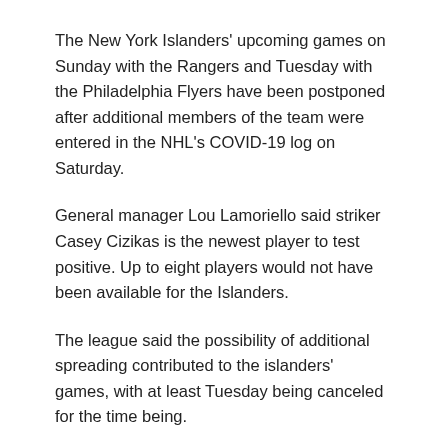The New York Islanders' upcoming games on Sunday with the Rangers and Tuesday with the Philadelphia Flyers have been postponed after additional members of the team were entered in the NHL's COVID-19 log on Saturday.
General manager Lou Lamoriello said striker Casey Cizikas is the newest player to test positive. Up to eight players would not have been available for the Islanders.
The league said the possibility of additional spreading contributed to the islanders' games, with at least Tuesday being canceled for the time being.
MONTREAL (AP) – The Montreal Canadiens sacked General Manager Marc Bergevin and two other executives on Sunday amid fighting on the ice just months after advancing to the Stanley Cup final.